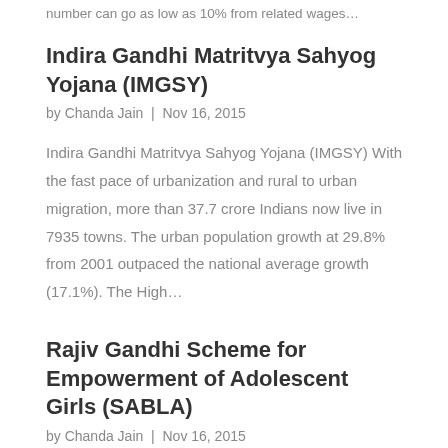number can go as low as 10% from related wages…
Indira Gandhi Matritvya Sahyog Yojana (IMGSY)
by Chanda Jain | Nov 16, 2015
Indira Gandhi Matritvya Sahyog Yojana (IMGSY) With the fast pace of urbanization and rural to urban migration, more than 37.7 crore Indians now live in 7935 towns. The urban population growth at 29.8% from 2001 outpaced the national average growth (17.1%). The High…
Rajiv Gandhi Scheme for Empowerment of Adolescent Girls (SABLA)
by Chanda Jain | Nov 16, 2015
Rajiv Gandhi Scheme for Empowerment of